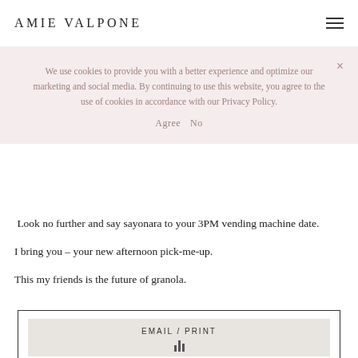AMIE VALPONE
We use cookies to provide you with a better experience and optimize our marketing and social media. By continuing to use this website, you agree to the use of cookies in accordance with our Privacy Policy.
Agree  No
Look no further and say sayonara to your 3PM vending machine date.
I bring you – your new afternoon pick-me-up.
This my friends is the future of granola.
[Figure (other): Recipe card widget with EMAIL / PRINT label and bar chart icon]